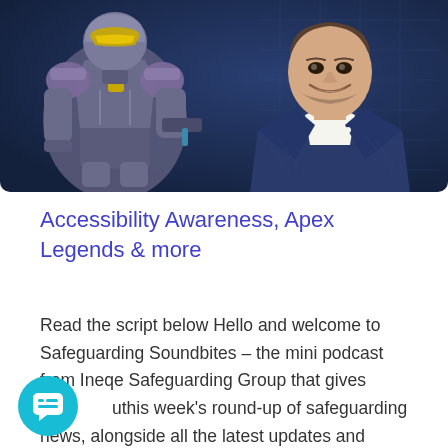[Figure (photo): Composite image showing a sci-fi armored robot character on the left and a smiling man in a navy blue suit on the right, set against a dark blue background.]
Accessibility Awareness, Apex Legends & more
Read the script below Hello and welcome to Safeguarding Soundbites – the mini podcast from Ineqe Safeguarding Group that gives you this week's round-up of safeguarding news, alongside all the latest updates and